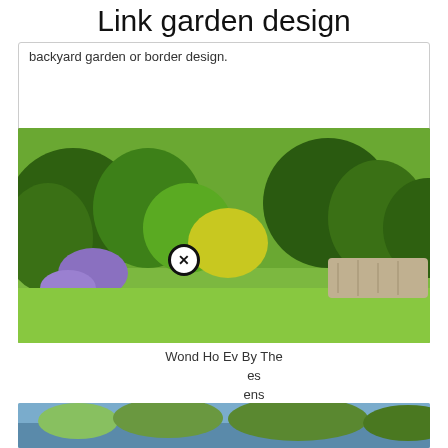Link garden design
backyard garden or border design.
[Figure (photo): Garden photo showing green shrubs, hedges, and colorful plants with a woodworking products advertisement popup overlay]
Wond... Ho... Ev... By The ...es ...ens